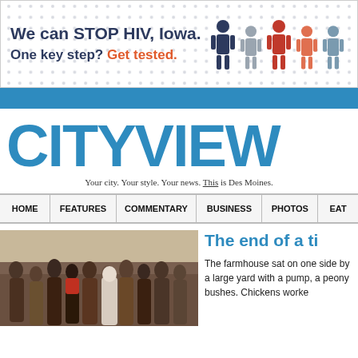[Figure (infographic): HIV awareness banner ad: 'We can STOP HIV, Iowa. One key step? Get tested.' with human figure icons in dark blue, gray, red, orange, and gray colors]
[Figure (logo): CITYVIEW logo in large blue text]
Your city. Your style. Your news. This is Des Moines.
HOME | FEATURES | COMMENTARY | BUSINESS | PHOTOS | EAT
[Figure (photo): Group photo of people including children and adults in winter coats, some wearing religious habits]
The end of a ti
The farmhouse sat on one side by a large yard with a pump, a peony bushes. Chickens worke